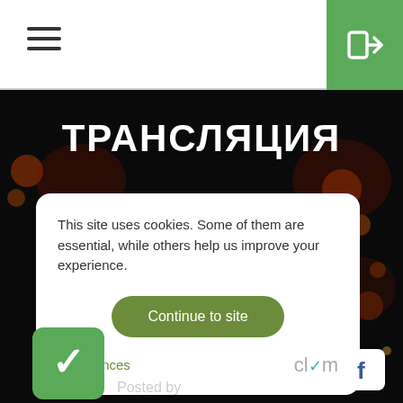[Figure (screenshot): Navigation header with hamburger menu icon on the left and green login/enter button on the right]
ТРАНСЛЯЦИЯ
This site uses cookies. Some of them are essential, while others help us improve your experience.
Continue to site
Preferences
[Figure (logo): Clym logo]
Posted by Startup.Network
[Figure (logo): Facebook icon (white F on white background with rounded corners)]